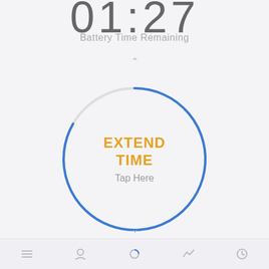01:27
Battery Time Remaining
[Figure (infographic): A circular ring button with a blue arc progress indicator (~80% full), containing 'EXTEND TIME' in orange bold uppercase text and 'Tap Here' in gray below it. The ring is light gray with a blue highlighted segment from top-right going clockwise around most of the circle.]
EXTEND TIME
Tap Here